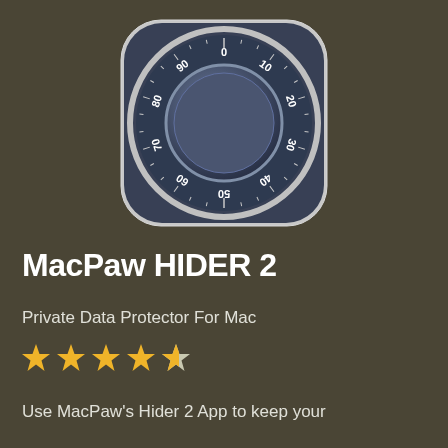[Figure (logo): MacPaw Hider 2 app icon showing a combination lock dial with numbers 0-90 arranged in a circle on a dark blue-gray rounded square background with light gray/white border]
MacPaw HIDER 2
Private Data Protector For Mac
[Figure (other): 4.5 star rating shown as golden stars — four full stars and one half star]
Use MacPaw's Hider 2 App to keep your